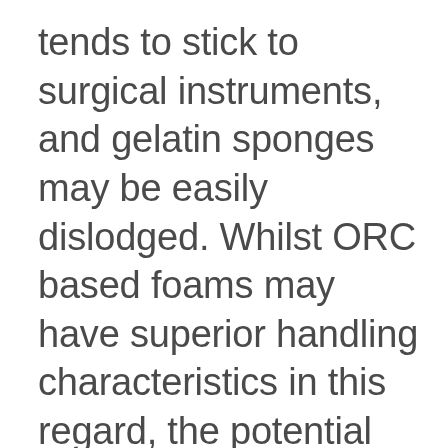tends to stick to surgical instruments, and gelatin sponges may be easily dislodged. Whilst ORC based foams may have superior handling characteristics in this regard, the potential for ORC to pass through the intervertebral foramen and cause spinal cord